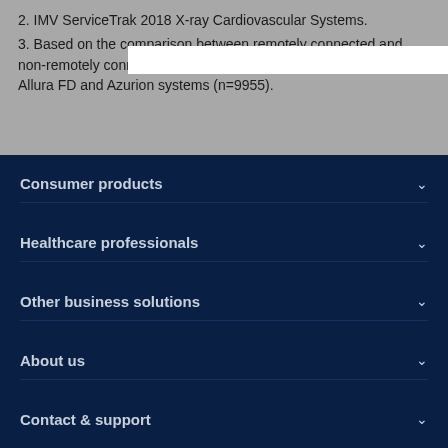2. IMV ServiceTrak 2018 X-ray Cardiovascular Systems.
3. Based on the comparison between remotely connected and non-remotely connected systems. Data sample from 2018 for Allura FD and Azurion systems (n=9955).
Consumer products
Healthcare professionals
Other business solutions
About us
Contact & support